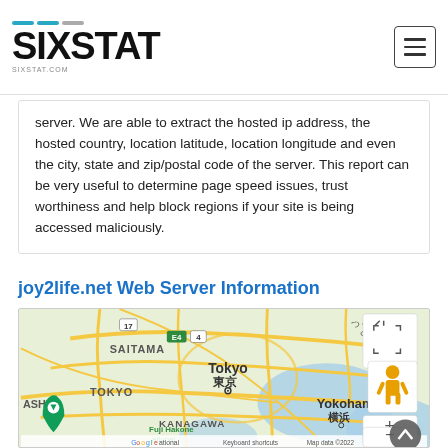SIXSTAT - sixstat.com
server. We are able to extract the hosted ip address, the hosted country, location latitude, location longitude and even the city, state and zip/postal code of the server. This report can be very useful to determine page speed issues, trust worthiness and help block regions if your site is being accessed maliciously.
joy2life.net Web Server Information
[Figure (map): Google Maps screenshot showing Tokyo, Japan area including Saitama, Tokyo, Yokohama, Kanagawa regions with street map overlay. Map data ©2022. Shows zoom controls and Street View pegman icon.]